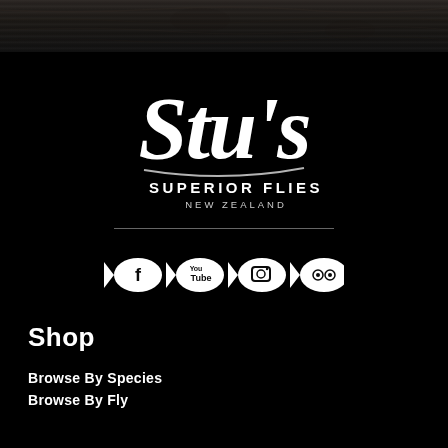[Figure (logo): Dark wood grain textured header band at top of page]
[Figure (logo): Stu's Superior Flies New Zealand logo in white script and sans-serif text on black background]
[Figure (infographic): Four white fish-shaped social media icons: Facebook, YouTube, Instagram, TripAdvisor]
Shop
Browse By Species
Browse By Fly